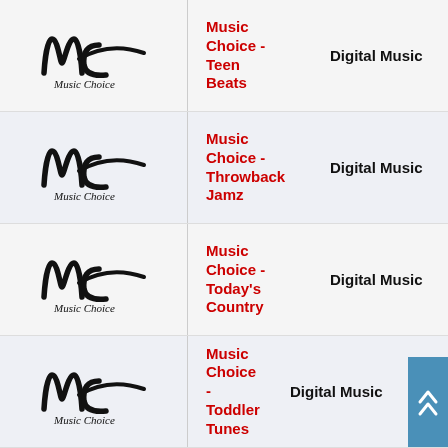[Figure (logo): Music Choice logo - MC stylized letters with 'Music Choice' cursive text]
Music Choice - Teen Beats
Digital Music
[Figure (logo): Music Choice logo - MC stylized letters with 'Music Choice' cursive text]
Music Choice - Throwback Jamz
Digital Music
[Figure (logo): Music Choice logo - MC stylized letters with 'Music Choice' cursive text]
Music Choice - Today's Country
Digital Music
[Figure (logo): Music Choice logo - MC stylized letters with 'Music Choice' cursive text]
Music Choice - Toddler Tunes
Digital Music